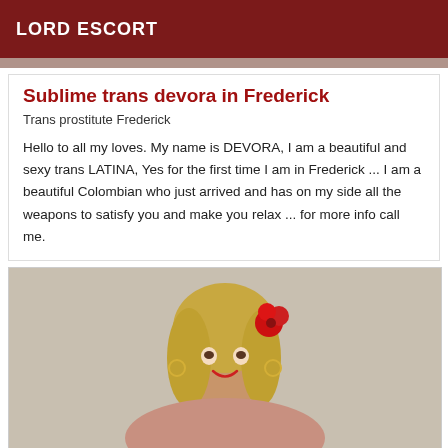LORD ESCORT
[Figure (photo): Top portion of a person photo, cropped]
Sublime trans devora in Frederick
Trans prostitute Frederick
Hello to all my loves. My name is DEVORA, I am a beautiful and sexy trans LATINA, Yes for the first time I am in Frederick ... I am a beautiful Colombian who just arrived and has on my side all the weapons to satisfy you and make you relax ... for more info call me.
[Figure (photo): Photo of a person with blonde hair wearing a red flower hair accessory, smiling, wearing hoop earrings]